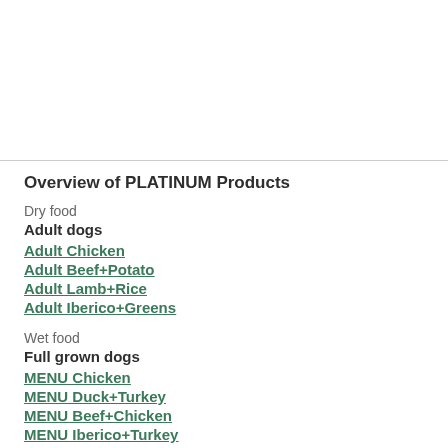Overview of PLATINUM Products
Dry food
Adult dogs
Adult Chicken
Adult Beef+Potato
Adult Lamb+Rice
Adult Iberico+Greens
Wet food
Full grown dogs
MENU Chicken
MENU Duck+Turkey
MENU Beef+Chicken
MENU Iberico+Turkey
MENU Fish+Chicken